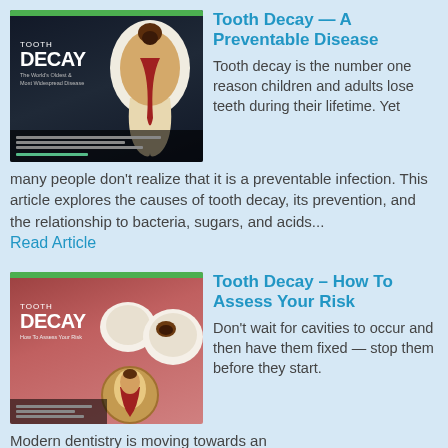[Figure (illustration): Tooth Decay article thumbnail showing cross-section of a decayed tooth on dark background with 'TOOTH DECAY' text]
Tooth Decay — A Preventable Disease
Tooth decay is the number one reason children and adults lose teeth during their lifetime. Yet many people don't realize that it is a preventable infection. This article explores the causes of tooth decay, its prevention, and the relationship to bacteria, sugars, and acids...
Read Article
[Figure (illustration): Tooth Decay How To Assess Your Risk article thumbnail showing decayed molars on pinkish background with 'TOOTH DECAY' text]
Tooth Decay – How To Assess Your Risk
Don't wait for cavities to occur and then have them fixed — stop them before they start. Modern dentistry is moving towards an